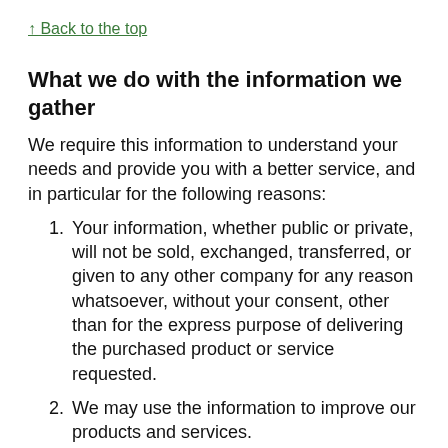↑ Back to the top
What we do with the information we gather
We require this information to understand your needs and provide you with a better service, and in particular for the following reasons:
1. Your information, whether public or private, will not be sold, exchanged, transferred, or given to any other company for any reason whatsoever, without your consent, other than for the express purpose of delivering the purchased product or service requested.
2. We may use the information to improve our products and services.
3. We may periodically send promotional emails about new products, special offers or other information which we think you